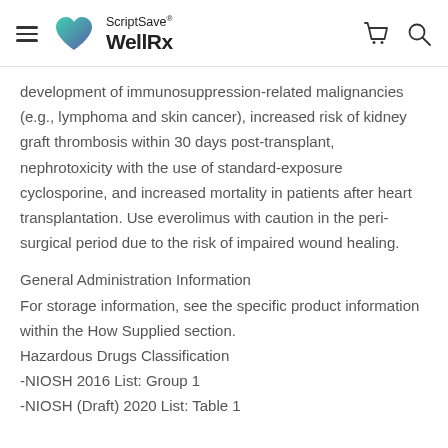ScriptSave® WellRx
development of immunosuppression-related malignancies (e.g., lymphoma and skin cancer), increased risk of kidney graft thrombosis within 30 days post-transplant, nephrotoxicity with the use of standard-exposure cyclosporine, and increased mortality in patients after heart transplantation. Use everolimus with caution in the peri-surgical period due to the risk of impaired wound healing.
General Administration Information
For storage information, see the specific product information within the How Supplied section.
Hazardous Drugs Classification
-NIOSH 2016 List: Group 1
-NIOSH (Draft) 2020 List: Table 1